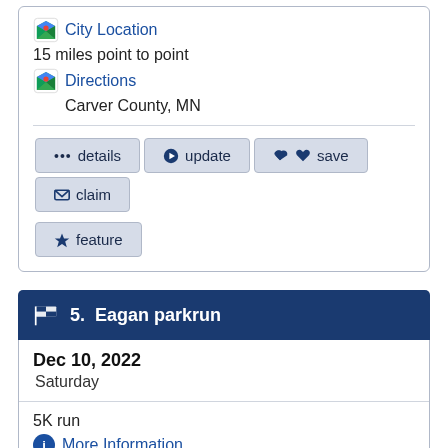City Location
15 miles point to point
Directions
Carver County, MN
details
update
save
claim
feature
5. Eagan parkrun
Dec 10, 2022
Saturday
5K run
More Information
Eagan, MN
City Location